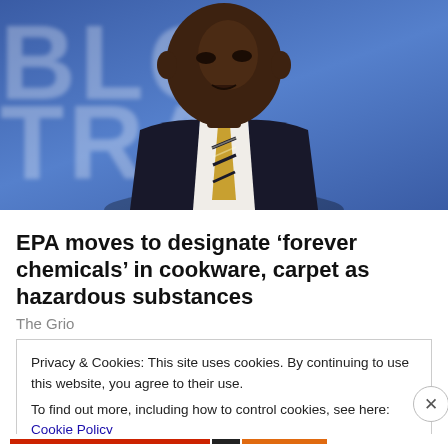[Figure (photo): A man in a dark suit and striped tie speaking at a podium, photographed against a blue background with large blurred white letters]
EPA moves to designate ‘forever chemicals’ in cookware, carpet as hazardous substances
The Grio
Privacy & Cookies: This site uses cookies. By continuing to use this website, you agree to their use.
To find out more, including how to control cookies, see here: Cookie Policy